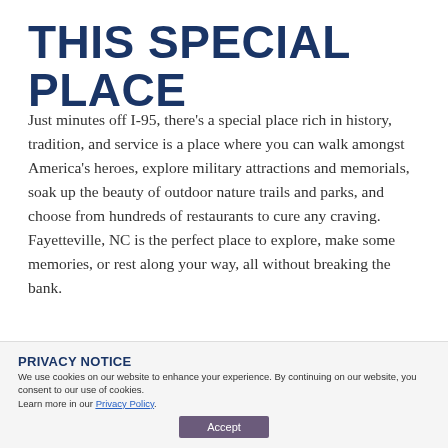THIS SPECIAL PLACE
Just minutes off I-95, there's a special place rich in history, tradition, and service is a place where you can walk amongst America's heroes, explore military attractions and memorials, soak up the beauty of outdoor nature trails and parks, and choose from hundreds of restaurants to cure any craving. Fayetteville, NC is the perfect place to explore, make some memories, or rest along your way, all without breaking the bank.
PRIVACY NOTICE
We use cookies on our website to enhance your experience. By continuing on our website, you consent to our use of cookies. Learn more in our Privacy Policy.